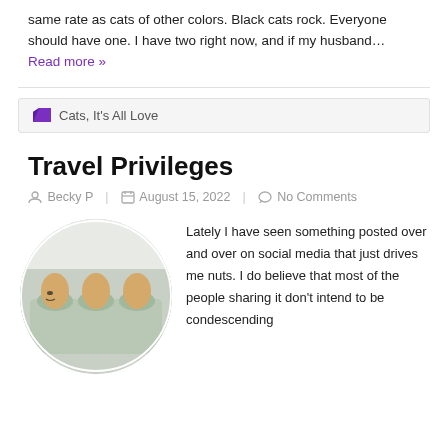same rate as cats of other colors. Black cats rock. Everyone should have one.  I have two right now, and if my husband… Read more »
🗂 Cats, It's All Love
Travel Privileges
Becky P   August 15, 2022   No Comments
[Figure (photo): Circular cropped photo of eggs in a light green egg carton, one egg has a drawn face on it, on a light background.]
Lately I have seen something posted over and over on social media that just drives me nuts.  I do believe that most of the people sharing it don't intend to be condescending